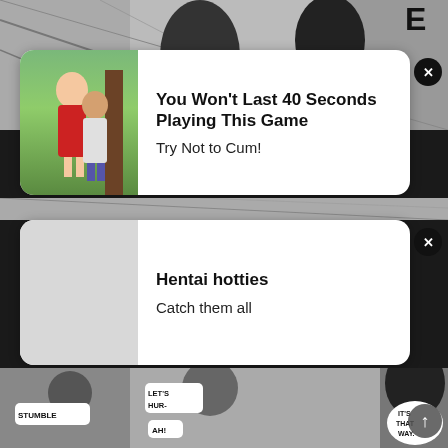[Figure (illustration): Manga/comic panel background at top showing action scene in black and white]
[Figure (photo): Advertisement card 1: photo of two people outdoors, with bold text 'You Won't Last 40 Seconds Playing This Game' and subtext 'Try Not to Cum!']
You Won't Last 40 Seconds Playing This Game
Try Not to Cum!
[Figure (illustration): Advertisement card 2: grey placeholder image area, with bold text 'Hentai hotties' and subtext 'Catch them all']
Hentai hotties
Catch them all
[Figure (illustration): Manga panel at bottom showing characters with speech bubbles: STUMBLE, LET'S HUR-, AH!, IT'S THAT WAY.]